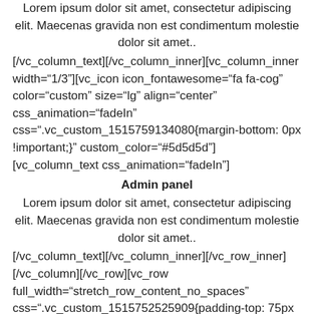Lorem ipsum dolor sit amet, consectetur adipiscing elit. Maecenas gravida non est condimentum molestie dolor sit amet..
[/vc_column_text][/vc_column_inner][vc_column_inner width="1/3"][vc_icon icon_fontawesome="fa fa-cog" color="custom" size="lg" align="center" css_animation="fadeIn" css=".vc_custom_1515759134080{margin-bottom: 0px !important;}" custom_color="#5d5d5d"][vc_column_text css_animation="fadeIn"]
Admin panel
Lorem ipsum dolor sit amet, consectetur adipiscing elit. Maecenas gravida non est condimentum molestie dolor sit amet..
[/vc_column_text][/vc_column_inner][/vc_row_inner] [/vc_column][/vc_row][vc_row full_width="stretch_row_content_no_spaces" css=".vc_custom_1515752525909{padding-top: 75px !important;padding-bottom: 75px !important;background-